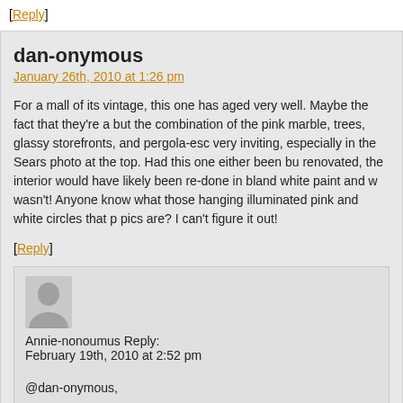[Reply]
dan-onymous
January 26th, 2010 at 1:26 pm
For a mall of its vintage, this one has aged very well. Maybe the fact that they're a but the combination of the pink marble, trees, glassy storefronts, and pergola-esc very inviting, especially in the Sears photo at the top. Had this one either been bu renovated, the interior would have likely been re-done in bland white paint and w wasn't! Anyone know what those hanging illuminated pink and white circles that p pics are? I can't figure it out!
[Reply]
[Figure (illustration): Generic user avatar icon - grey silhouette of a person]
Annie-nonoumus Reply:
February 19th, 2010 at 2:52 pm
@dan-onymous,
Those are the directional signs letting you know where the anchor stores and th